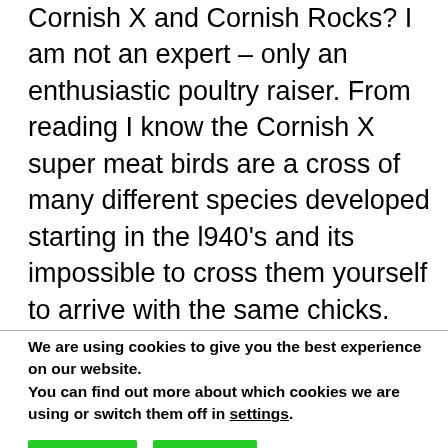Cornish X and Cornish Rocks? I am not an expert – only an enthusiastic poultry raiser. From reading I know the Cornish X super meat birds are a cross of many different species developed starting in the l940's and its impossible to cross them yourself to arrive with the same chicks. This is a closely guarded secret obviously! The Cornish Rocks are a specific breed and I believe went into the original mix of arriving at the
We are using cookies to give you the best experience on our website.
You can find out more about which cookies we are using or switch them off in settings.